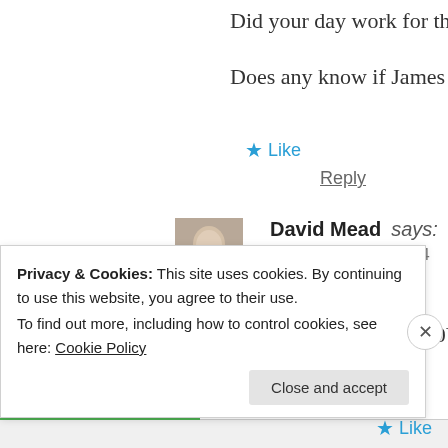Did your day work for the company for fifty y
Does any know if James David Grieg MD abo
★ Like
Reply
David Mead says:
May 28, 2021 at 9:24 am
Yes Dad Worked 50Years man& Boy Norwood
★ Like
Privacy & Cookies: This site uses cookies. By continuing to use this website, you agree to their use.
To find out more, including how to control cookies, see here: Cookie Policy
Close and accept